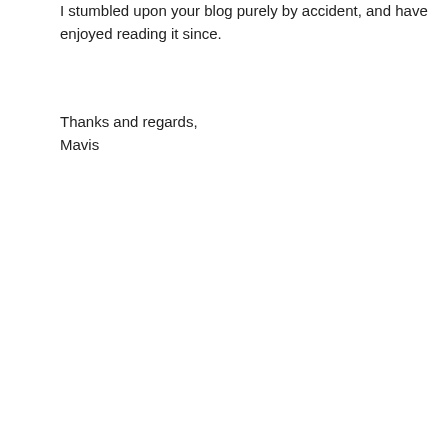I stumbled upon your blog purely by accident, and have enjoyed reading it since.
Thanks and regards,
Mavis